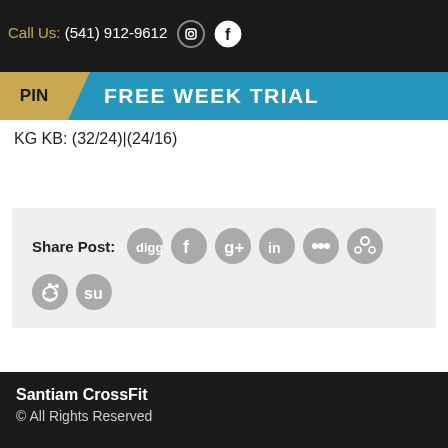Call Us: (541) 912-9612
FREE WEEK TRIAL
KG KB: (32/24)|(24/16)
Share Post:
< Friday   Sunday >
Santiam CrossFit
© All Rights Reserved